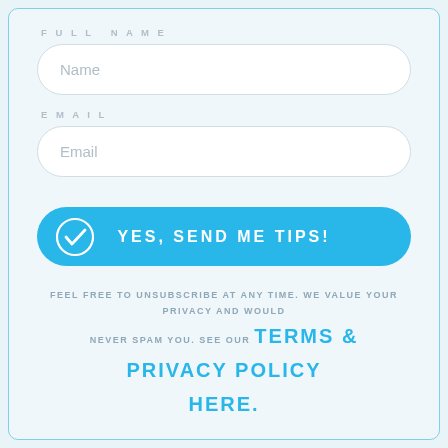FULL NAME
Name
EMAIL
Email
YES, SEND ME TIPS!
FEEL FREE TO UNSUBSCRIBE AT ANY TIME. WE VALUE YOUR PRIVACY AND WOULD NEVER SPAM YOU. SEE OUR TERMS & PRIVACY POLICY HERE.